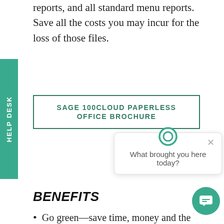reports, and all standard menu reports. Save all the costs you may incur for the loss of those files.
SAGE 100CLOUD PAPERLESS OFFICE BROCHURE
[Figure (screenshot): Chat popup widget with circular icon, close button (×), and text 'What brought you here today?']
BENEFITS
Go green—save time, money and the